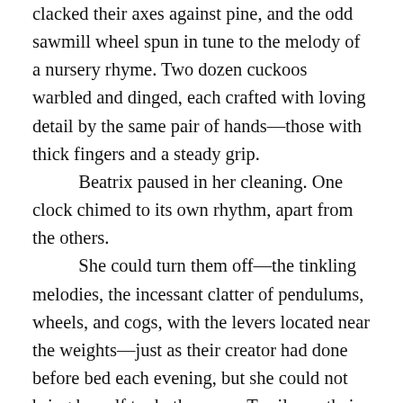clacked their axes against pine, and the odd sawmill wheel spun in tune to the melody of a nursery rhyme. Two dozen cuckoos warbled and dinged, each crafted with loving detail by the same pair of hands—those with thick fingers and a steady grip.
	Beatrix paused in her cleaning. One clock chimed to its own rhythm, apart from the others.
	She could turn them off—the tinkling melodies, the incessant clatter of pendulums, wheels, and cogs, with the levers located near the weights—just as their creator had done before bed each evening, but she could not bring herself to do the same. To silence their music was to silence him, her husband, Joseph. The Great War had already done that; ravaged his gentle nature, stolen his final breath, and silenced him forever.